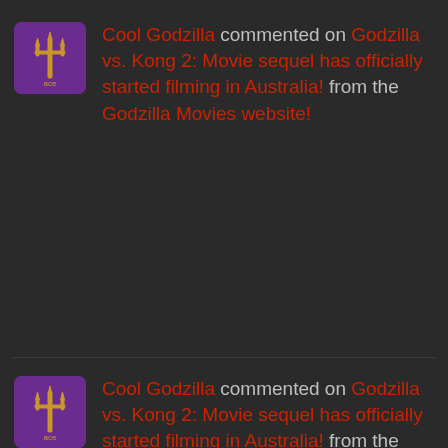Cool Godzilla commented on Godzilla vs. Kong 2: Movie sequel has officially started filming in Australia! from the Godzilla Movies website!
Cool Godzilla commented on Godzilla vs. Kong 2: Movie sequel has officially started filming in Australia! from the Godzilla Movies website!
SasquaDash replied to Rate Godzilla King of the